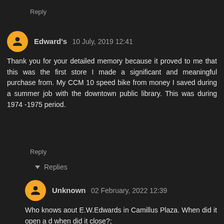Reply
Edward's 10 July, 2019 12:41
Thank you for your detailed memory because it proved to me that this was the first store I made a significant and meaningful purchase from. My CCM 10 speed bike from money I saved during a summer job with the downtown public library. This was during 1974 -1975 period.
Reply
Replies
Unknown 02 February, 2022 12:39
Who knows aout E.W.Edwards in Camillus Plaza. When did it open a d when did it close?;
Reply